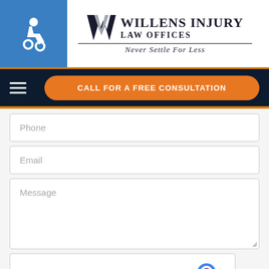[Figure (logo): Willens Injury Law Offices logo with accessibility icon, W emblem, firm name, and tagline 'Never Settle For Less']
CALL FOR A FREE CONSULTATION
Phone
Email
Message
[Figure (other): reCAPTCHA widget with 'I'm not a robot' checkbox]
Send